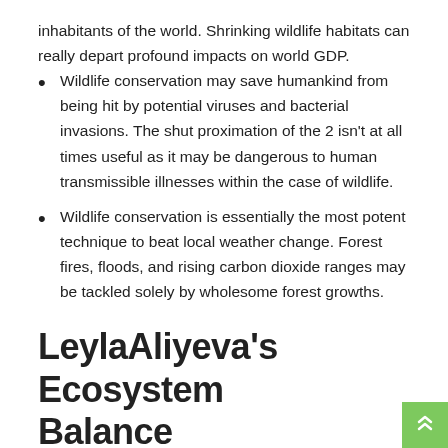inhabitants of the world. Shrinking wildlife habitats can really depart profound impacts on world GDP.
Wildlife conservation may save humankind from being hit by potential viruses and bacterial invasions. The shut proximation of the 2 isn't at all times useful as it may be dangerous to human transmissible illnesses within the case of wildlife.
Wildlife conservation is essentially the most potent technique to beat local weather change. Forest fires, floods, and rising carbon dioxide ranges may be tackled solely by wholesome forest growths.
LeylaAliyeva's Ecosystem Balance
Ecosystem...